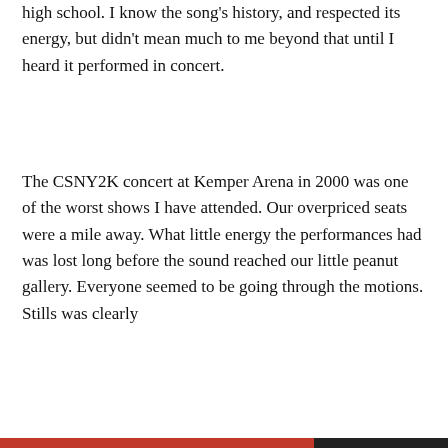high school. I know the song's history, and respected its energy, but didn't mean much to me beyond that until I heard it performed in concert.
The CSNY2K concert at Kemper Arena in 2000 was one of the worst shows I have attended. Our overpriced seats were a mile away. What little energy the performances had was lost long before the sound reached our little peanut gallery. Everyone seemed to be going through the motions. Stills was clearly
Privacy & Cookies: This site uses cookies. By continuing to use this website, you agree to their use.
To find out more, including how to control cookies, see here: Cookie Policy
Close and accept